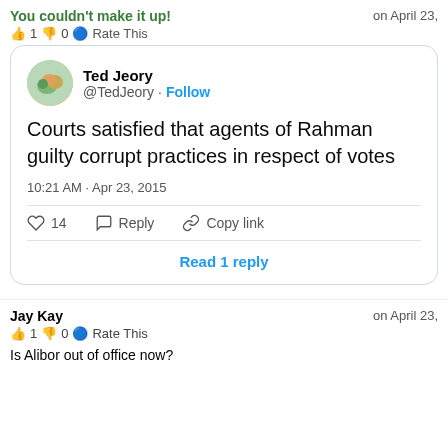You couldn't make it up!
👍 1 👎 0 ℹ Rate This
on April 23,
[Figure (screenshot): Embedded tweet from Ted Jeory (@TedJeory) with Follow button. Tweet text: Courts satisfied that agents of Rahman guilty corrupt practices in respect of votes. Timestamp: 10:21 AM · Apr 23, 2015. 14 likes, Reply, Copy link actions. Read 1 reply button.]
Jay Kay
on April 23,
👍 1 👎 0 ℹ Rate This
Is Alibor out of office now?